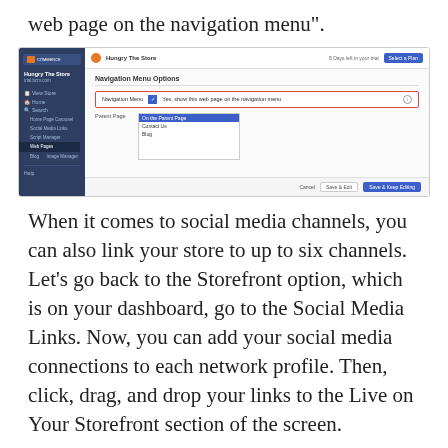web page on the navigation menu".
[Figure (screenshot): Screenshot of a BigCommerce store admin panel showing the Navigation Menu Options page. The left sidebar shows a dark blue navigation with items including Home Page Carousel, Social Media Links, Script Manager, Web Pages (highlighted), Blog, Image Manager, and Help. The main content area shows 'Navigation Menu Options' with a red-bordered checkbox option 'Yes, show this web page on the navigation menu' and a Parent Page dropdown listing On the Parent Page, Contact Us, and Blog. Bottom bar has Cancel, Save & Edit, and Save & Keep Editing buttons.]
When it comes to social media channels, you can also link your store to up to six channels. Let's go back to the Storefront option, which is on your dashboard, go to the Social Media Links. Now, you can add your social media connections to each network profile. Then, click, drag, and drop your links to the Live on Your Storefront section of the screen.
As you can see, your navigation page is now